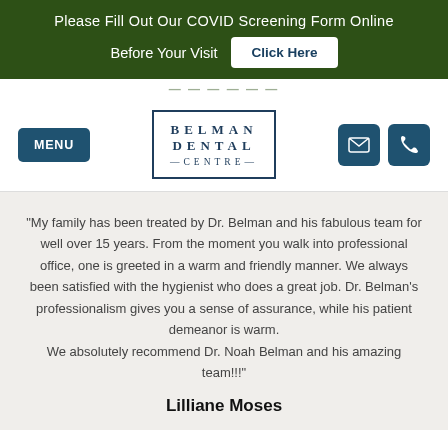Please Fill Out Our COVID Screening Form Online Before Your Visit  Click Here
[Figure (logo): Belman Dental Centre logo in dark navy box with border]
"My family has been treated by Dr. Belman and his fabulous team for well over 15 years. From the moment you walk into professional office, one is greeted in a warm and friendly manner. We always been satisfied with the hygienist who does a great job. Dr. Belman's professionalism gives you a sense of assurance, while his patient demeanor is warm. We absolutely recommend Dr. Noah Belman and his amazing team!!!"
Lilliane Moses